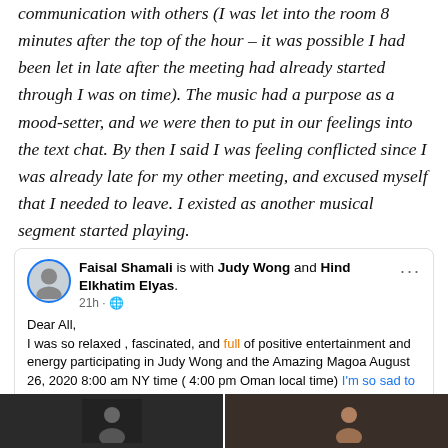communication with others (I was let into the room 8 minutes after the top of the hour – it was possible I had been let in late after the meeting had already started through I was on time). The music had a purpose as a mood-setter, and we were then to put in our feelings into the text chat. By then I said I was feeling conflicted since I was already late for my other meeting, and excused myself that I needed to leave. I existed as another musical segment started playing.
[Figure (screenshot): Facebook post by Faisal Shamali tagged with Judy Wong and Hind Elkhatim Elyas, posted 21 hours ago. Post text: Dear All, I was so relaxed, fascinated, and full of positive entertainment and energy participating in Judy Wong and the Amazing Magoa August 26, 2020 8:00 am NY time (4:00 pm Oman local time) I'm so sad to leave it because of urgent commitments Especially when you are eager to share your tribe on the other side of the globe.]
[Figure (photo): Dark strip at the bottom showing two photo thumbnails side by side, one with a face visible on the right side.]